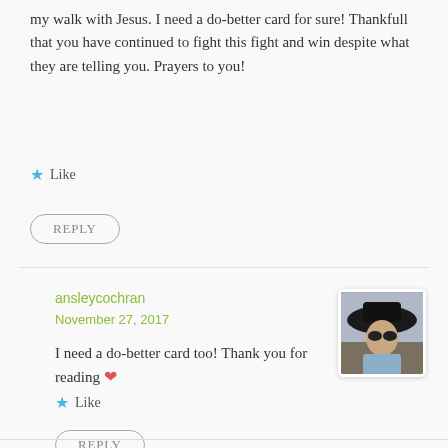my walk with Jesus. I need a do-better card for sure! Thankfull that you have continued to fight this fight and win despite what they are telling you. Prayers to you!
★ Like
REPLY
ansleycochran
November 27, 2017
I need a do-better card too! Thank you for reading ❤
★ Like
REPLY